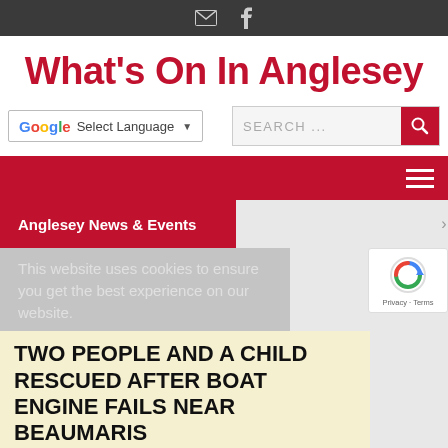Email and Facebook icons
What's On In Anglesey
Select Language
SEARCH ...
Anglesey News & Events
This website uses cookies to ensure you get the best experience on our website.
TWO PEOPLE AND A CHILD RESCUED AFTER BOAT ENGINE FAILS NEAR BEAUMARIS
[Figure (photo): Street scene photo at bottom of page]